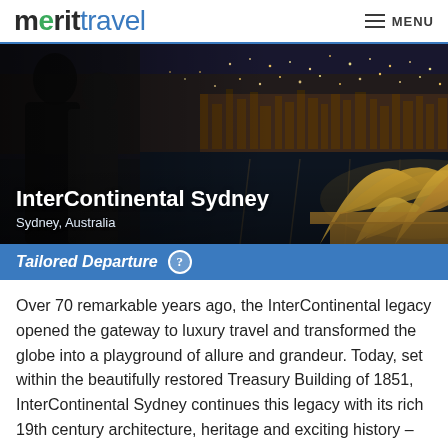merit travel MENU
[Figure (photo): Aerial night view of Sydney harbour with Sydney Opera House illuminated in gold on the right, city lights reflecting on the water, a couple silhouetted on the left foreground.]
InterContinental Sydney
Sydney, Australia
Tailored Departure ?
Over 70 remarkable years ago, the InterContinental legacy opened the gateway to luxury travel and transformed the globe into a playground of allure and grandeur. Today, set within the beautifully restored Treasury Building of 1851, InterContinental Sydney continues this legacy with its rich 19th century architecture, heritage and exciting history – making it the hotel of choice to unlock the authentic experiences that make Australia's harbour city one of the best